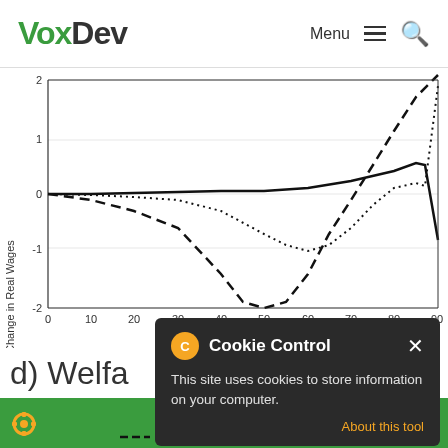VoxDev | Menu
[Figure (continuous-plot): Line chart showing % Change in Real Wages vs % Reduction in Robot Price. Three lines: solid line (stays near 0, slight peak ~0.5 around 85%), dashed line (dips to ~-2 around 40-50%, then rises sharply to ~2+ at 90%), dotted line (dips to ~-1 around 60-65%, then rises back near 0 at 70%, drops again). X-axis: 0 to 90 (% Reduction in Robot Price). Y-axis: -2 to 2 (% Change in Real Wages).]
d) Welfa
Cookie Control
This site uses cookies to store information on your computer.
About this tool
read more
North